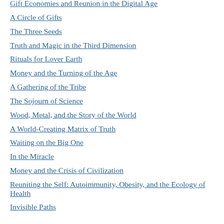Gift Economies and Reunion in the Digital Age
A Circle of Gifts
The Three Seeds
Truth and Magic in the Third Dimension
Rituals for Lover Earth
Money and the Turning of the Age
A Gathering of the Tribe
The Sojourn of Science
Wood, Metal, and the Story of the World
A World-Creating Matrix of Truth
Waiting on the Big One
In the Miracle
Money and the Crisis of Civilization
Reuniting the Self: Autoimmunity, Obesity, and the Ecology of Health
Invisible Paths